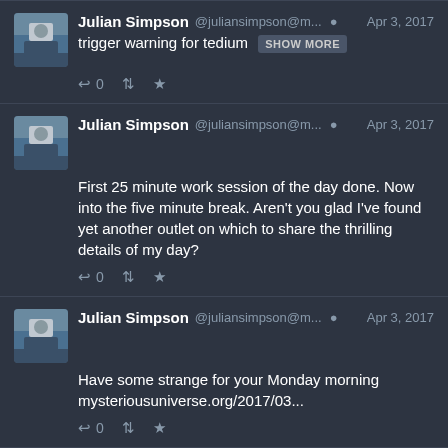[Figure (screenshot): Social media feed showing tweets from Julian Simpson on Apr 3, 2017]
Julian Simpson @juliansimpson@m... Apr 3, 2017 trigger warning for tedium SHOW MORE
Julian Simpson @juliansimpson@m... Apr 3, 2017 First 25 minute work session of the day done. Now into the five minute break. Aren't you glad I've found yet another outlet on which to share the thrilling details of my day?
Julian Simpson @juliansimpson@m... Apr 3, 2017 Have some strange for your Monday morning mysteriousuniverse.org/2017/03...
Julian Simpson @juliansimpson@m... Apr 3, 2017